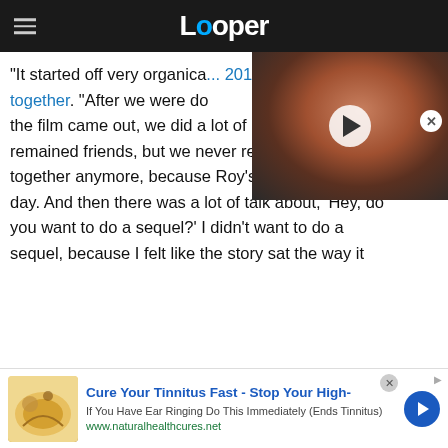Looper
"It started off very organica... 2019 when asked how The [Hundred-Foot Journey came] together. "After we were do[ne filming], the film came out, we did a lot of promotion and remained friends, but we never really cooked together anymore, because Roy's busy cooking all day. And then there was a lot of talk about, 'Hey, do you want to do a sequel?' I didn't want to do a sequel, because I felt like the story sat the way it
[Figure (screenshot): Video overlay thumbnail showing a woman with red hair in a fantasy/medieval setting, with a play button overlay]
[Figure (screenshot): Advertisement banner: Cure Your Tinnitus Fast - Stop Your High- | If You Have Ear Ringing Do This Immediately (Ends Tinnitus) | www.naturalhealthcures.net]